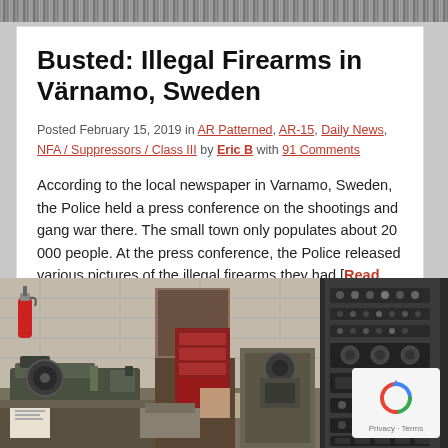decorative header bar
Busted: Illegal Firearms in Värnamo, Sweden
Posted February 15, 2019 in AR Patterned, AR-15, Daily News, NFA / Suppressors / Class III by Eric B with 91 Comments
According to the local newspaper in Varnamo, Sweden, the Police held a press conference on the shootings and gang war there. The small town only populates about 20 000 people. At the press conference, the Police released various pictures of the illegal firearms they had [Read More…]
[Figure (photo): Workshop photo showing machinery including a lathe and other metalworking equipment, with a red fire extinguisher visible on the wall, and a control panel on the right side.]